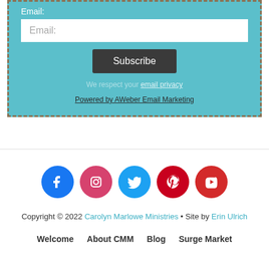Email:
Email: (input field)
Subscribe
We respect your email privacy
Powered by AWeber Email Marketing
[Figure (infographic): Row of 5 social media icons: Facebook (blue), Instagram (pink/red), Twitter (blue), Pinterest (red), YouTube (red)]
Copyright © 2022 Carolyn Marlowe Ministries • Site by Erin Ulrich
Welcome   About CMM   Blog   Surge Market